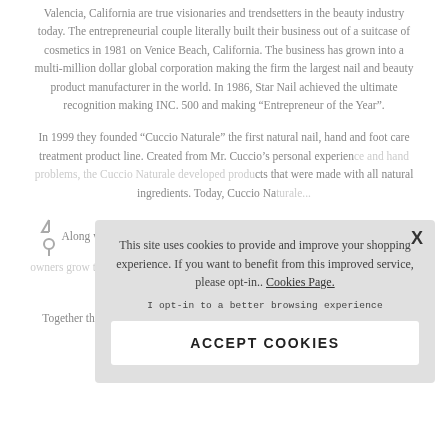Valencia, California are true visionaries and trendsetters in the beauty industry today. The entrepreneurial couple literally built their business out of a suitcase of cosmetics in 1981 on Venice Beach, California. The business has grown into a multi-million dollar global corporation making the firm the largest nail and beauty product manufacturer in the world. In 1986, Star Nail achieved the ultimate recognition making INC. 500 and making “Entrepreneur of the Year”.
In 1999 they founded “Cuccio Naturale” the first natural nail, hand and foot care treatment product line. Created from Mr. Cuccio’s personal experience and hand problems, the Cuccio Naturale developed products that were made with all natural ingredients. Today, Cuccio Na...
Along with running... seminars to help: s... and enhance their... operations of the...
Together they are... and set trends with their vast knowledge and expertise. Their...
This site uses cookies to provide and improve your shopping experience. If you want to benefit from this improved service, please opt-in.. Cookies Page.
I opt-in to a better browsing experience
ACCEPT COOKIES